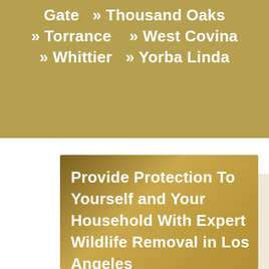Gate » Thousand Oaks
» Torrance » West Covina
» Whittier » Yorba Linda
Provide Protection To Yourself and Your Household With Expert Wildlife Removal in Los Angeles